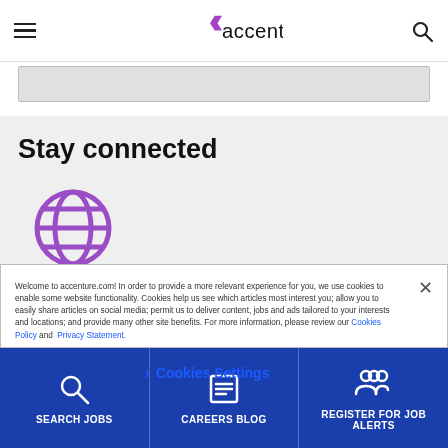Accenture website header with hamburger menu, Accenture logo, and search icon
Stay connected
[Figure (illustration): Purple globe/grid icon]
Welcome to accenture.com! In order to provide a more relevant experience for you, we use cookies to enable some website functionality. Cookies help us see which articles most interest you; allow you to easily share articles on social media; permit us to deliver content, jobs and ads tailored to your interests and locations; and provide many other site benefits. For more information, please review our Cookies Policy and Privacy Statement.
Cookies Settings
SEARCH JOBS | CAREERS BLOG | REGISTER FOR JOB ALERTS